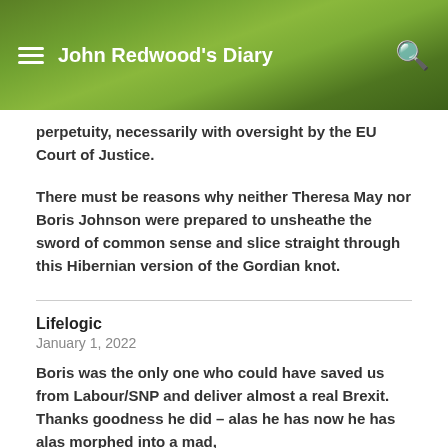John Redwood's Diary
perpetuity, necessarily with oversight by the EU Court of Justice.
There must be reasons why neither Theresa May nor Boris Johnson were prepared to unsheathe the sword of common sense and slice straight through this Hibernian version of the Gordian knot.
Lifelogic
January 1, 2022
Boris was the only one who could have saved us from Labour/SNP and deliver almost a real Brexit. Thanks goodness he did – alas he has now he has alas morphed into a mad,